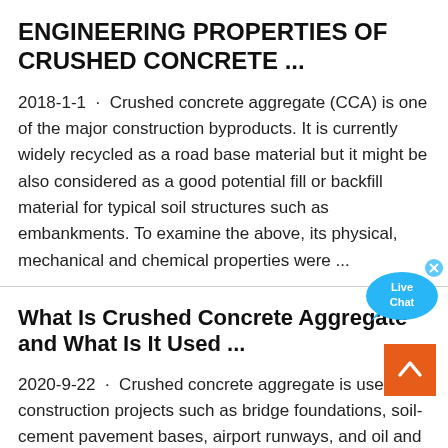ENGINEERING PROPERTIES OF CRUSHED CONCRETE ...
2018-1-1 · Crushed concrete aggregate (CCA) is one of the major construction byproducts. It is currently widely recycled as a road base material but it might be also considered as a good potential fill or backfill material for typical soil structures such as embankments. To examine the above, its physical, mechanical and chemical properties were ...
What Is Crushed Concrete Aggregate and What Is It Used ...
2020-9-22 · Crushed concrete aggregate is used in construction projects such as bridge foundations, soil-cement pavement bases, airport runways, and oil and gas pipeline construction projects. It is also used for...